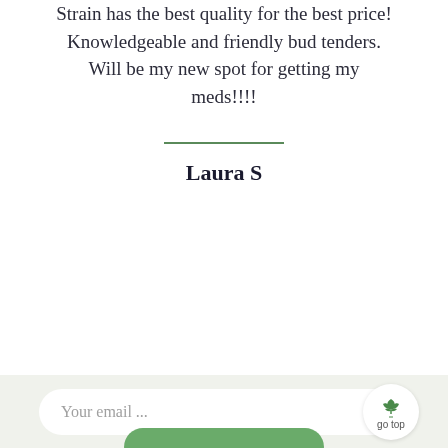Strain has the best quality for the best price! Knowledgeable and friendly bud tenders. Will be my new spot for getting my meds!!!!
Laura S
Your email ...
go top